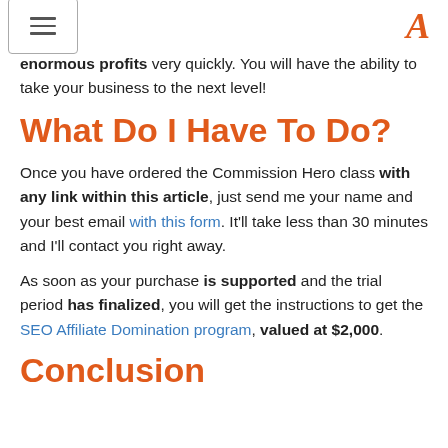[hamburger menu icon] [A logo]
enormous profits very quickly. You will have the ability to take your business to the next level!
What Do I Have To Do?
Once you have ordered the Commission Hero class with any link within this article, just send me your name and your best email with this form. It'll take less than 30 minutes and I'll contact you right away.
As soon as your purchase is supported and the trial period has finalized, you will get the instructions to get the SEO Affiliate Domination program, valued at $2,000.
Conclusion